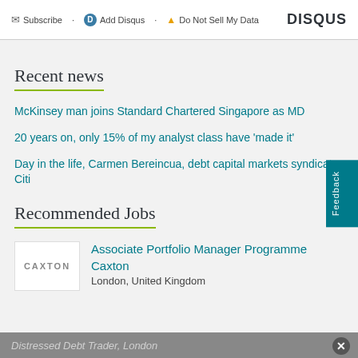Subscribe · Add Disqus · Do Not Sell My Data · DISQUS
Recent news
McKinsey man joins Standard Chartered Singapore as MD
20 years on, only 15% of my analyst class have 'made it'
Day in the life, Carmen Bereincua, debt capital markets syndicate, Citi
Recommended Jobs
[Figure (logo): CAXTON company logo]
Associate Portfolio Manager Programme
Caxton
London, United Kingdom
Distressed Debt Trader, London